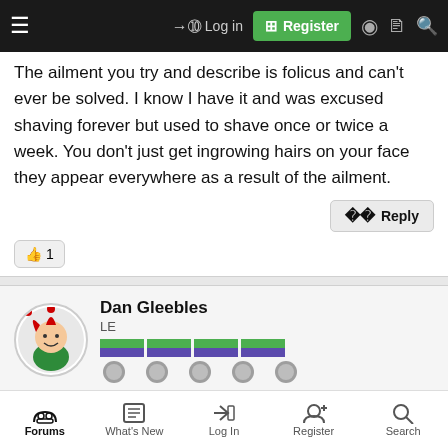Log in | Register
The ailment you try and describe is folicus and can't ever be solved. I know I have it and was excused shaving forever but used to shave once or twice a week. You don't just get ingrowing hairs on your face they appear everywhere as a result of the ailment.
Reply
👍 1
Dan Gleebles
LE
8 Dec 2021  #90
Forums | What's New | Log In | Register | Search